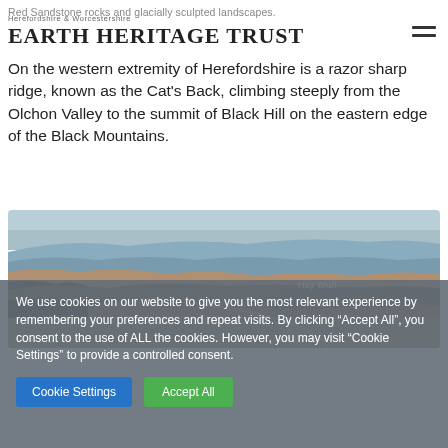Red Sandstone rocks and glacially sculpted landscapes.
Herefordshire & Worcestershire Earth Heritage Trust
On the western extremity of Herefordshire is a razor sharp ridge, known as the Cat's Back, climbing steeply from the Olchon Valley to the summit of Black Hill on the eastern edge of the Black Mountains.
[Figure (photo): Panoramic landscape photograph of Black Mountains/Hay Bluff area showing moorland ridges and valleys, with 'Hay Bluff' label visible in the image.]
We use cookies on our website to give you the most relevant experience by remembering your preferences and repeat visits. By clicking “Accept All”, you consent to the use of ALL the cookies. However, you may visit “Cookie Settings” to provide a controlled consent.